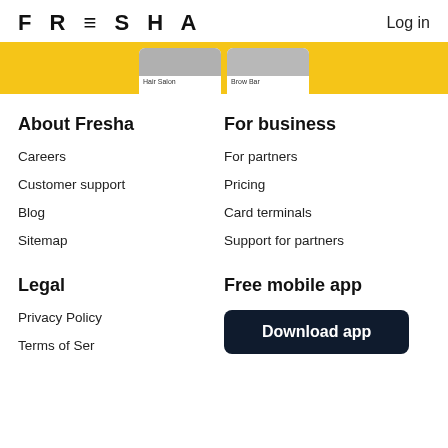FRESHA  Log in
[Figure (screenshot): Yellow banner with white app-preview cards showing Hair Salon and Brow Bar categories]
About Fresha
Careers
Customer support
Blog
Sitemap
For business
For partners
Pricing
Card terminals
Support for partners
Legal
Privacy Policy
Terms of Service
Free mobile app
Download app